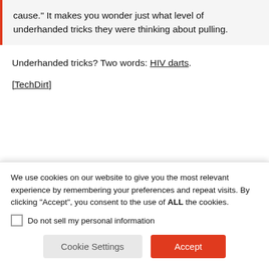cause.” It makes you wonder just what level of underhanded tricks they were thinking about pulling.
Underhanded tricks? Two words: HIV darts.
[TechDirt]
We use cookies on our website to give you the most relevant experience by remembering your preferences and repeat visits. By clicking “Accept”, you consent to the use of ALL the cookies.
Do not sell my personal information
Cookie Settings  Accept